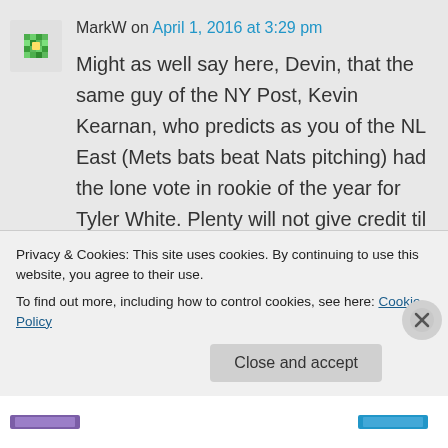MarkW on April 1, 2016 at 3:29 pm
Might as well say here, Devin, that the same guy of the NY Post, Kevin Kearnan, who predicts as you of the NL East (Mets bats beat Nats pitching) had the lone vote in rookie of the year for Tyler White. Plenty will not give credit til he earns it, but he's no secret on fantasy baseball boards.
Privacy & Cookies: This site uses cookies. By continuing to use this website, you agree to their use.
To find out more, including how to control cookies, see here: Cookie Policy